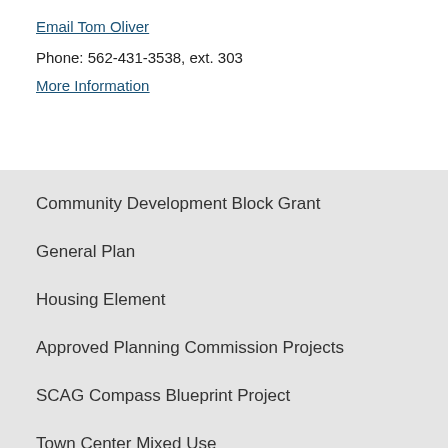Email Tom Oliver
Phone: 562-431-3538, ext. 303
More Information
Community Development Block Grant
General Plan
Housing Element
Approved Planning Commission Projects
SCAG Compass Blueprint Project
Town Center Mixed Use